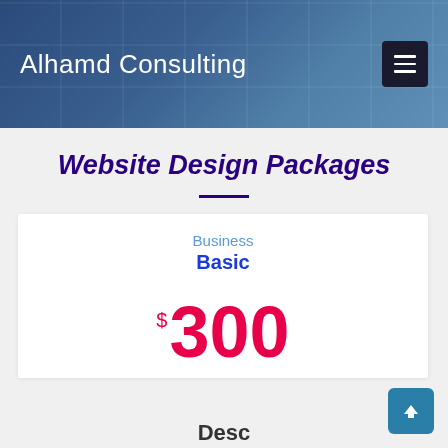Alhamd Consulting
Website Design Packages
Business
Basic
$300